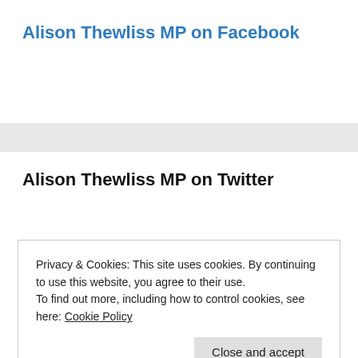Alison Thewliss MP on Facebook
Alison Thewliss MP on Twitter
Privacy & Cookies: This site uses cookies. By continuing to use this website, you agree to their use.
To find out more, including how to control cookies, see here: Cookie Policy
Close and accept
Alison Thewliss MP – Constituency Office